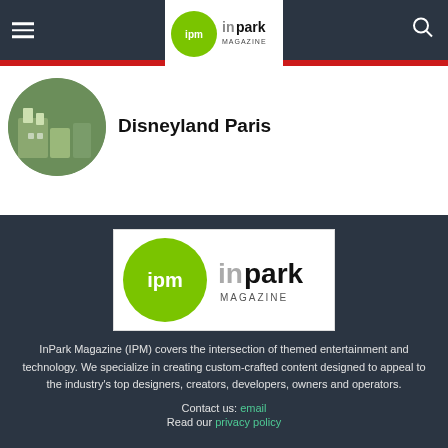IPM InPark Magazine navigation bar with hamburger menu and search icon
[Figure (logo): IPM InPark Magazine logo in white box at top nav center]
Disneyland Paris
[Figure (logo): IPM InPark Magazine logo in white box]
InPark Magazine (IPM) covers the intersection of themed entertainment and technology. We specialize in creating custom-crafted content designed to appeal to the industry's top designers, creators, developers, owners and operators.
Contact us: email
Read our privacy policy